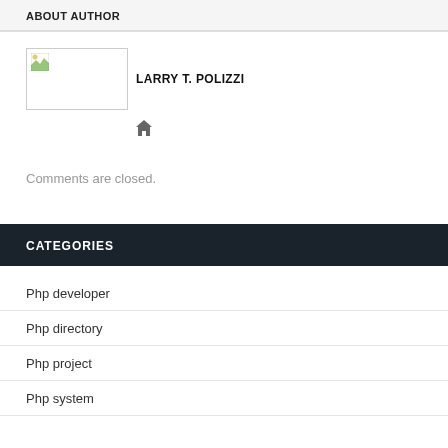ABOUT AUTHOR
LARRY T. POLIZZI
CATEGORIES
Php developer
Php directory
Php project
Php system